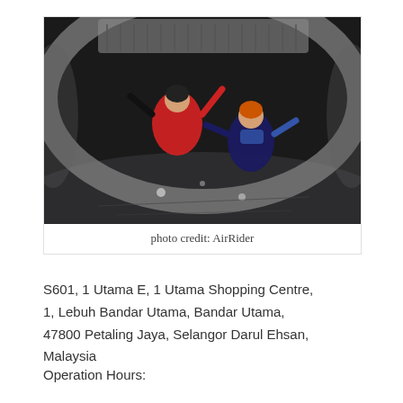[Figure (photo): Two people in flight suits and helmets floating inside an indoor skydiving wind tunnel, arms outstretched, viewed from above. The tunnel has a circular metal frame and dark interior.]
photo credit: AirRider
S601, 1 Utama E, 1 Utama Shopping Centre, 1, Lebuh Bandar Utama, Bandar Utama, 47800 Petaling Jaya, Selangor Darul Ehsan, Malaysia
Operation Hours: